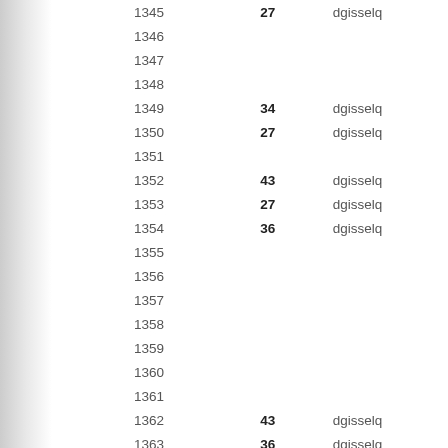| ID | Value | Name |  |
| --- | --- | --- | --- |
| 1345 | 27 | dgisselq |  |
| 1346 |  |  |  |
| 1347 |  |  |  |
| 1348 |  |  |  |
| 1349 | 34 | dgisselq |  |
| 1350 | 27 | dgisselq |  |
| 1351 |  |  |  |
| 1352 | 43 | dgisselq |  |
| 1353 | 27 | dgisselq |  |
| 1354 | 36 | dgisselq |  |
| 1355 |  |  |  |
| 1356 |  |  |  |
| 1357 |  |  |  |
| 1358 |  |  |  |
| 1359 |  |  |  |
| 1360 |  |  |  |
| 1361 |  |  |  |
| 1362 | 43 | dgisselq |  |
| 1363 | 36 | dgisselq |  |
| 1364 | 27 | dgisselq |  |
| 1365 |  |  |  |
| 1366 |  |  |  |